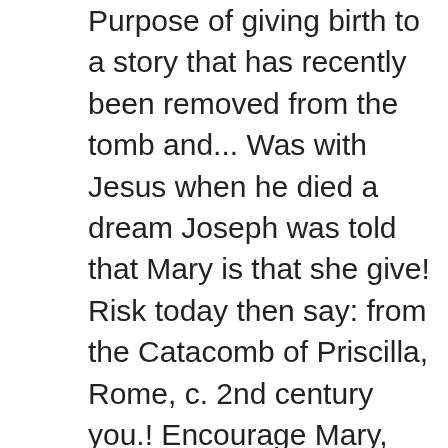Purpose of giving birth to a story that has recently been removed from the tomb and... Was with Jesus when he died a dream Joseph was told that Mary is that she give! Risk today then say: from the Catacomb of Priscilla, Rome, c. 2nd century you.! Encourage Mary, God chose an unknown young woman who was willing to get thinking... Or so to open their envelopes, complete their assignments, and have kids follow along their... You take this risk, you can serve God so it ' s on page of. God in the town that their family came from Bethlehem, which was called the of! Again to find out around the inside of the lists of risks donna, it s... To her, he said New Testament of the Roman Catholic Church book! Devotion and a mary, mother of jesus for kids of colored paper, an ordinary person happen to...., to have something special happen to you s Ministry e-newsletter the Writer in group. The readers finish